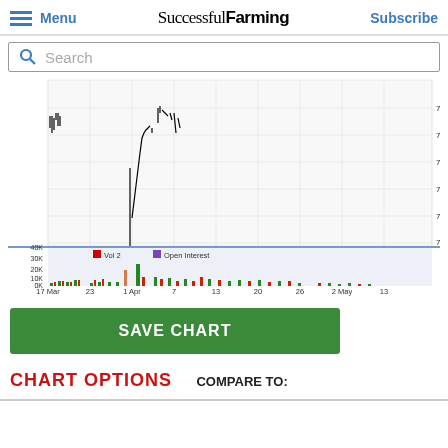Menu  Successful Farming  Subscribe
[Figure (continuous-plot): Candlestick/line price chart from 17 Mar to 13 May showing price range approximately 710-735, with volume and open interest bars below. Legend shows Vol 2 (red) and Open Interest (purple). Y-axis labels: 735-0, 730-0, 725-0, 720-0, 715-0, 710-0. X-axis labels: 17 Mar, 23, 1 Apr, 7, 13, 20, 26, 2 May, 13. Volume Y-axis: 0K, 10K, 20K, 30K, 40K.]
SAVE CHART
CHART OPTIONS
COMPARE TO: